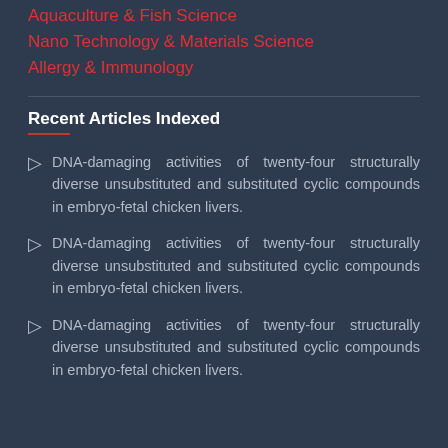Aquaculture & Fish Science
Nano Technology & Materials Science
Allergy & Immunology
Recent Articles Indexed
DNA-damaging activities of twenty-four structurally diverse unsubstituted and substituted cyclic compounds in embryo-fetal chicken livers.
DNA-damaging activities of twenty-four structurally diverse unsubstituted and substituted cyclic compounds in embryo-fetal chicken livers.
DNA-damaging activities of twenty-four structurally diverse unsubstituted and substituted cyclic compounds in embryo-fetal chicken livers.